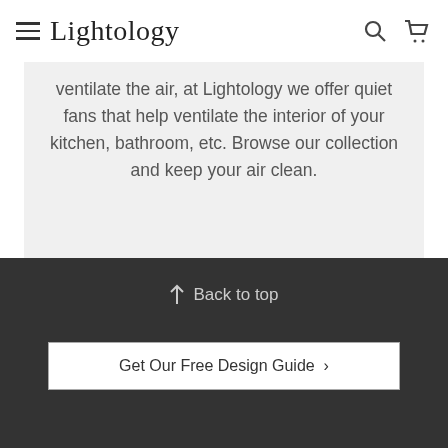Lightology
ventilate the air, at Lightology we offer quiet fans that help ventilate the interior of your kitchen, bathroom, etc. Browse our collection and keep your air clean.
Back to top
Get Our Free Design Guide >